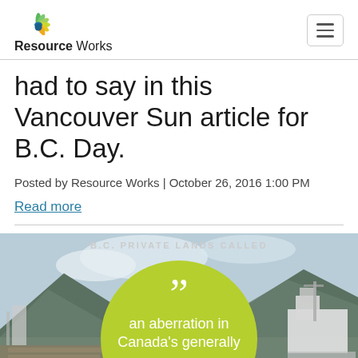Resource Works
had to say in this Vancouver Sun article for B.C. Day.
Posted by Resource Works | October 26, 2016 1:00 PM
Read more
[Figure (photo): Photo of a port/industrial waterfront with mountains in background, overlaid with a green circle containing a large quotation mark and the text 'an aberration in Canada's generally'. Text 'B.C. PRIVATE LANDS CALLED' appears above the circle.]